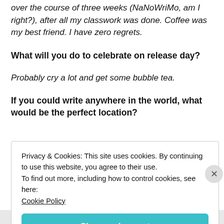over the course of three weeks (NaNoWriMo, am I right?), after all my classwork was done. Coffee was my best friend. I have zero regrets.
What will you do to celebrate on release day?
Probably cry a lot and get some bubble tea.
If you could write anywhere in the world, what would be the perfect location?
Privacy & Cookies: This site uses cookies. By continuing to use this website, you agree to their use.
To find out more, including how to control cookies, see here: Cookie Policy
Close and accept